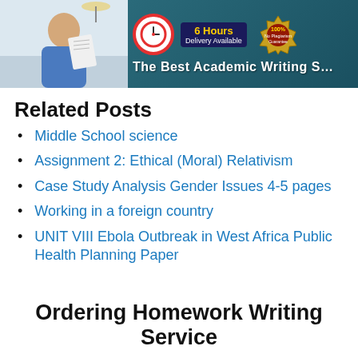[Figure (screenshot): Academic writing service banner with photo of student, clock icon, '6 Hours Delivery Available', '100% No Plagiarism Guarantee' seal, and 'The Best Academic Writing' text]
Related Posts
Middle School science
Assignment 2: Ethical (Moral) Relativism
Case Study Analysis Gender Issues 4-5 pages
Working in a foreign country
UNIT VIII Ebola Outbreak in West Africa Public Health Planning Paper
Ordering Homework Writing Service